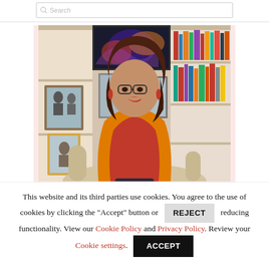[Figure (screenshot): Search input bar at the top of the page with placeholder text 'Search']
[Figure (photo): Portrait photo of a middle-aged woman with brown hair, red lipstick, glasses, red dangling earrings, wearing a red top and yellow/mustard cardigan, seated in a light-colored chair with a bookshelf and framed photos in the background. The background has a light pink/cream container.]
This website and its third parties use cookies. You agree to the use of cookies by clicking the "Accept" button or REJECT reducing functionality. View our Cookie Policy and Privacy Policy. Review your Cookie settings. ACCEPT